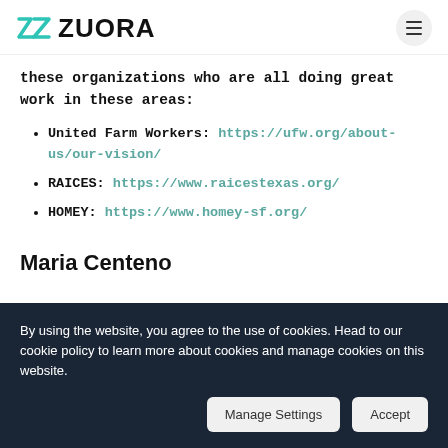Zuora
these organizations who are all doing great work in these areas:
United Farm Workers: https://ufw.org/about-us/our-vision/
RAICES: https://www.raicestexas.org/
HOMEY: https://www.homey-sf.org/
Maria Centeno
By using the website, you agree to the use of cookies. Head to our cookie policy to learn more about cookies and manage cookies on this website.